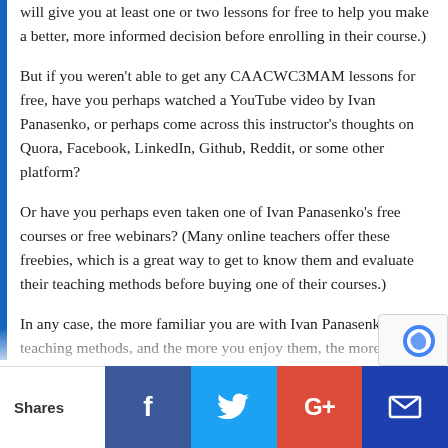will give you at least one or two lessons for free to help you make a better, more informed decision before enrolling in their course.)
But if you weren't able to get any CAACWC3MAM lessons for free, have you perhaps watched a YouTube video by Ivan Panasenko, or perhaps come across this instructor's thoughts on Quora, Facebook, LinkedIn, Github, Reddit, or some other platform?
Or have you perhaps even taken one of Ivan Panasenko's free courses or free webinars? (Many online teachers offer these freebies, which is a great way to get to know them and evaluate their teaching methods before buying one of their courses.)
In any case, the more familiar you are with Ivan Panasenko's teaching methods, and the more you enjoy them, the more likely it is that Creating and animatin…